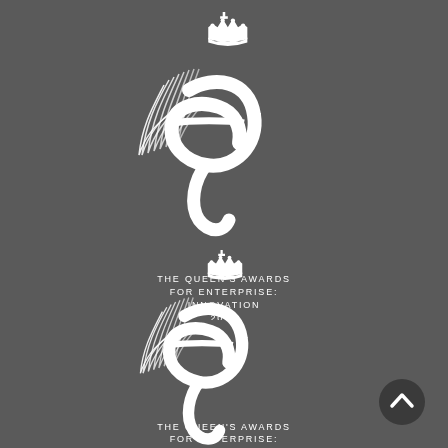[Figure (logo): The Queen's Awards for Enterprise: Innovation 2020 logo — crown above stylized 'e' with wing motif, white on dark grey background]
[Figure (logo): The Queen's Awards for Enterprise: International Trade 2019 logo — crown above stylized 'e' with wing motif, white on dark grey background]
[Figure (illustration): Dark circular scroll-to-top button with upward chevron arrow, positioned bottom right]